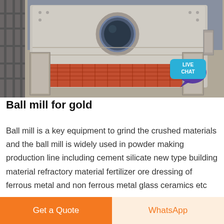[Figure (photo): Industrial ball mill machine photographed at an industrial facility. Large beige/grey cylindrical grinding machine with a circular porthole window, red mesh grate at the bottom, mechanical support arms on sides, and scaffolding visible on the left. A 'LIVE CHAT' bubble is overlaid on the top right corner.]
Ball mill for gold
Ball mill is a key equipment to grind the crushed materials and the ball mill is widely used in powder making production line including cement silicate new type building material refractory material fertilizer ore dressing of ferrous metal and non ferrous metal glass ceramics etc And the ball mill can grind various ores and other
Get a Quote   WhatsApp